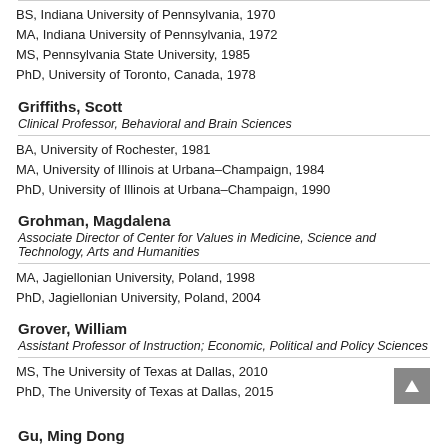BS, Indiana University of Pennsylvania, 1970
MA, Indiana University of Pennsylvania, 1972
MS, Pennsylvania State University, 1985
PhD, University of Toronto, Canada, 1978
Griffiths, Scott
Clinical Professor, Behavioral and Brain Sciences
BA, University of Rochester, 1981
MA, University of Illinois at Urbana–Champaign, 1984
PhD, University of Illinois at Urbana–Champaign, 1990
Grohman, Magdalena
Associate Director of Center for Values in Medicine, Science and Technology, Arts and Humanities
MA, Jagiellonian University, Poland, 1998
PhD, Jagiellonian University, Poland, 2004
Grover, William
Assistant Professor of Instruction; Economic, Political and Policy Sciences
MS, The University of Texas at Dallas, 2010
PhD, The University of Texas at Dallas, 2015
Gu, Ming Dong